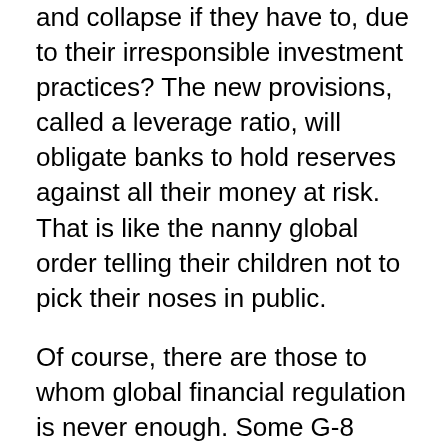and collapse if they have to, due to their irresponsible investment practices?  The new provisions, called a leverage ratio, will obligate banks to hold reserves against all their money at risk.  That is like the nanny global order telling their children not to pick their noses in public.
Of course, there are those to whom global financial regulation is never enough.  Some G-8 countries were pushing for an additional 2.5 percent increase, during “good times” of economic overheating. According to the document released by the group, the rules would be adopted gradually to give banks time to adjust.  Some of the measures will not take effect until 2019, with banks having to start raising cash in 2013.  Too little too late?
The Basel Regulators left the door open to imposing stricter rules on “important” banks, whose problems - irrosponsibilities, can infect the whole financial system